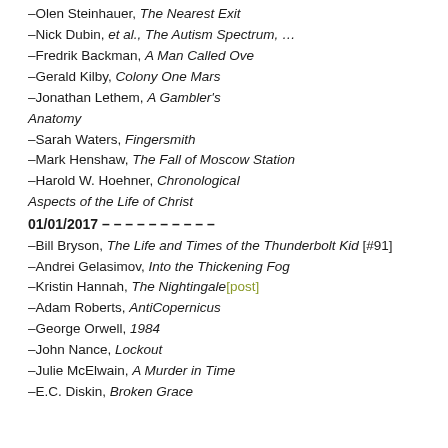–Olen Steinhauer, The Nearest Exit
–Nick Dubin, et al., The Autism Spectrum, …
–Fredrik Backman, A Man Called Ove
–Gerald Kilby, Colony One Mars
–Jonathan Lethem, A Gambler's Anatomy
–Sarah Waters, Fingersmith
–Mark Henshaw, The Fall of Moscow Station
–Harold W. Hoehner, Chronological Aspects of the Life of Christ
01/01/2017 – – – – – – – – – –
–Bill Bryson, The Life and Times of the Thunderbolt Kid [#91]
–Andrei Gelasimov, Into the Thickening Fog
–Kristin Hannah, The Nightingale[post]
–Adam Roberts, AntiCopernicus
–George Orwell, 1984
–John Nance, Lockout
–Julie McElwain, A Murder in Time
–E.C. Diskin, Broken Grace